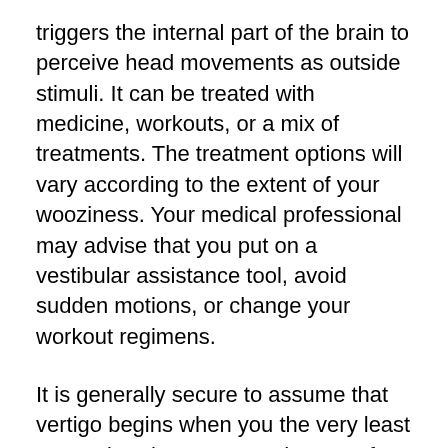triggers the internal part of the brain to perceive head movements as outside stimuli. It can be treated with medicine, workouts, or a mix of treatments. The treatment options will vary according to the extent of your wooziness. Your medical professional may advise that you put on a vestibular assistance tool, avoid sudden motions, or change your workout regimens.
It is generally secure to assume that vertigo begins when you the very least expect it. When you stand on one foot as well as feel lightheaded, possibilities are you are already in an elevated position. Therefore, it is essential that you maintain your head and upper body right whatsoever times. For those who are frequently on the move, there